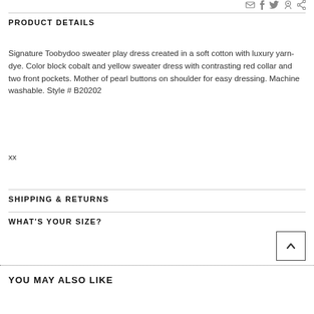PRODUCT DETAILS
Signature Toobydoo sweater play dress created in a soft cotton with luxury yarn-dye. Color block cobalt and yellow sweater dress with contrasting red collar and two front pockets. Mother of pearl buttons on shoulder for easy dressing. Machine washable. Style # B20202
xx
SHIPPING & RETURNS
WHAT'S YOUR SIZE?
YOU MAY ALSO LIKE